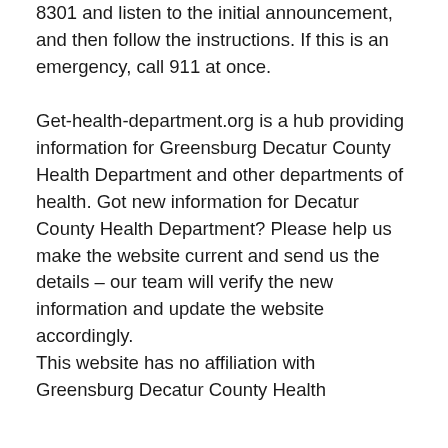8301 and listen to the initial announcement, and then follow the instructions. If this is an emergency, call 911 at once.
Get-health-department.org is a hub providing information for Greensburg Decatur County Health Department and other departments of health. Got new information for Decatur County Health Department? Please help us make the website current and send us the details – our team will verify the new information and update the website accordingly.
This website has no affiliation with Greensburg Decatur County Health